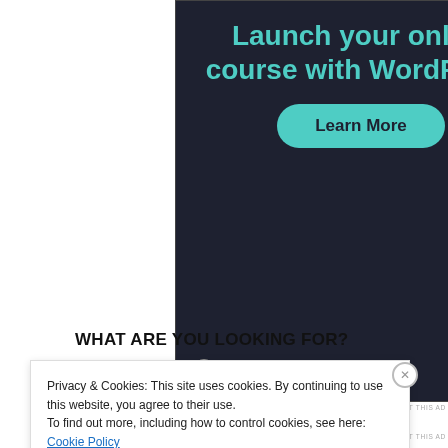[Figure (screenshot): Dark-themed advertisement banner for launching an online course with WordPress. Shows teal text 'Launch your online course with WordPress', a green 'Learn More' button, and 'Powered by WordPress.com' at the bottom.]
REPORT THIS AD
WHAT ARE YOU LOOKING FOR?
Privacy & Cookies: This site uses cookies. By continuing to use this website, you agree to their use.
To find out more, including how to control cookies, see here:
Cookie Policy
Close and accept